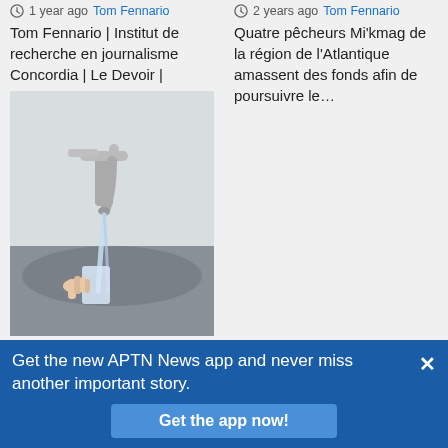1 year ago  Tom Fennario
Tom Fennario | Institut de recherche en journalisme Concordia | Le Devoir |
[Figure (photo): A hand filling a glass of water from a kitchen faucet/tap]
Liberals announce money to end boil water advisory for Mohawks of the Bay of Quinte in Ontario
2 years ago  Tom Fennario
Trudeau says he kept
2 years ago  Tom Fennario
Quatre pêcheurs Mi'kmag de la région de l'Atlantique amassent des fonds afin de poursuivre le…
Get the new APTN News app and never miss another important story.
Get the app now!